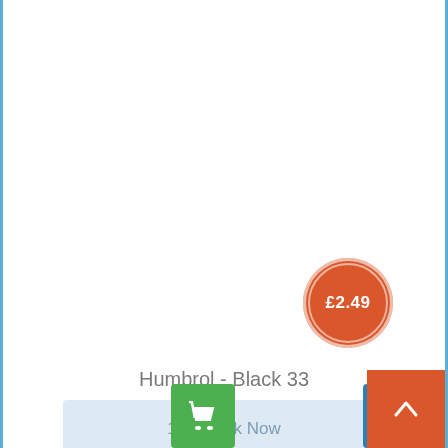[Figure (other): Price badge circle showing £2.49 on an orange/burnt-orange circle with white inner ring border]
Humbrol - Black 33
1 in Stock Now
[Figure (other): Green shopping cart button icon]
[Figure (other): Blue heart/wishlist button icon]
[Figure (other): Orange scroll-to-top button with upward chevron]